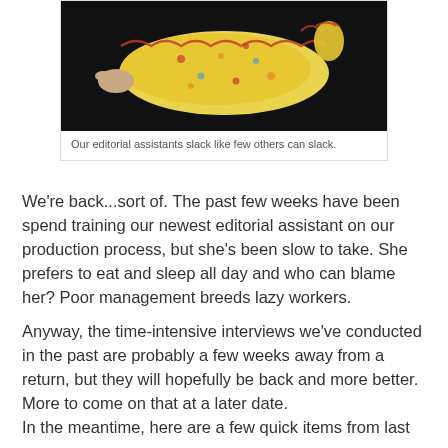[Figure (photo): A baby in yellow pajamas with colorful print lying on a dark surface, appearing to be sleeping or resting.]
Our editorial assistants slack like few others can slack.
We're back...sort of. The past few weeks have been spend training our newest editorial assistant on our production process, but she's been slow to take. She prefers to eat and sleep all day and who can blame her? Poor management breeds lazy workers.
Anyway, the time-intensive interviews we've conducted in the past are probably a few weeks away from a return, but they will hopefully be back and more better. More to come on that at a later date.
In the meantime, here are a few quick items from last